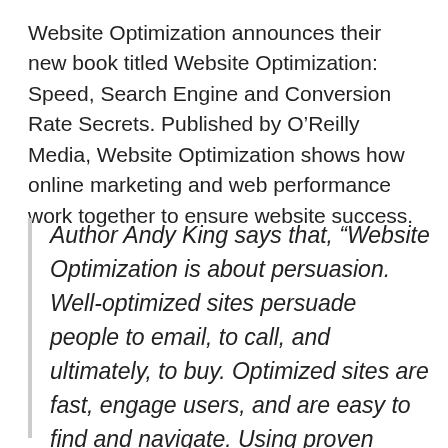Website Optimization announces their new book titled Website Optimization: Speed, Search Engine and Conversion Rate Secrets. Published by O'Reilly Media, Website Optimization shows how online marketing and web performance work together to ensure website success.
Author Andy King says that, “Website Optimization is about persuasion. Well-optimized sites persuade people to email, to call, and ultimately, to buy. Optimized sites are fast, engage users, and are easy to find and navigate. Using proven methods of design, copy writing and visibility, website